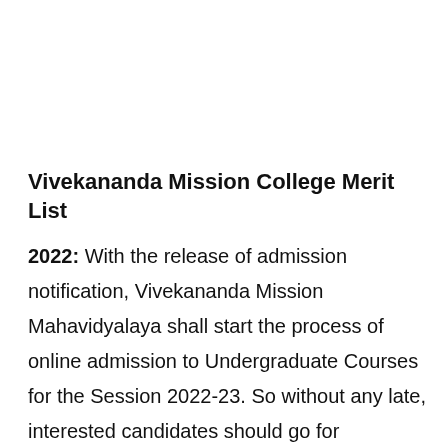Vivekananda Mission College Merit List
2022: With the release of admission notification, Vivekananda Mission Mahavidyalaya shall start the process of online admission to Undergraduate Courses for the Session 2022-23. So without any late, interested candidates should go for submitting the online admission form through the online on the date...